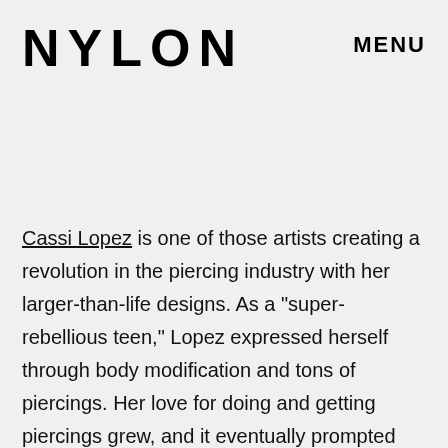NYLON   MENU
[Figure (photo): Image placeholder area, appears blank/light gray]
Cassi Lopez is one of those artists creating a revolution in the piercing industry with her larger-than-life designs. As a "super-rebellious teen," Lopez expressed herself through body modification and tons of piercings. Her love for doing and getting piercings grew, and it eventually prompted her to spend her senior year of high school working